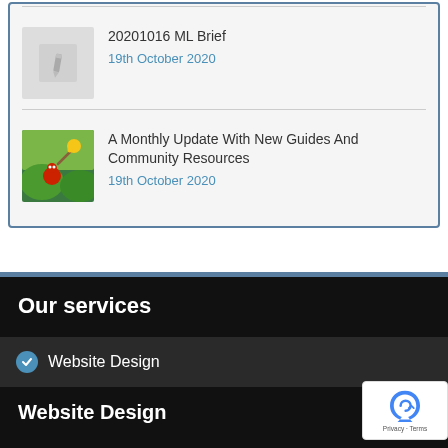20201016 ML Brief
19th October 2020
A Monthly Update With New Guides And Community Resources
19th October 2020
Our services
Website Design
Website Design